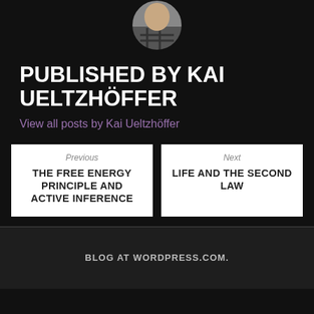[Figure (photo): Circular avatar photo of a person wearing a scarf, cropped at the top of the page]
PUBLISHED BY KAI UELTZHÖFFER
View all posts by Kai Ueltzhöffer
Previous
THE FREE ENERGY PRINCIPLE AND ACTIVE INFERENCE
Next
LIFE AND THE SECOND LAW
BLOG AT WORDPRESS.COM.